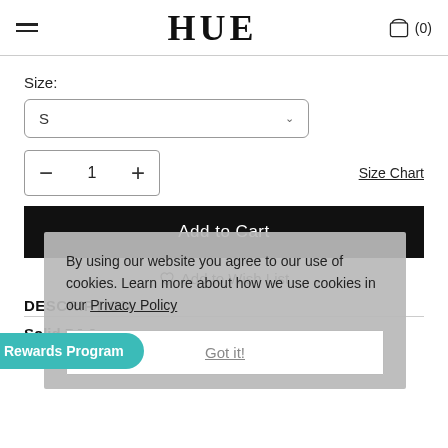HUE (0)
Size:
S
- 1 +
Size Chart
Add to Cart
Add to Wish List
By using our website you agree to our use of cookies. Learn more about how we use cookies in our Privacy Policy
Got it!
DESCRIPTION
Solid PJ Jogger
Product Description Style PJ212125F
Rewards Program